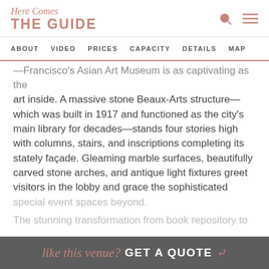Here Comes THE GUIDE
ABOUT  VIDEO  PRICES  CAPACITY  DETAILS  MAP
—Francisco's Asian Art Museum is as captivating as the art inside. A massive stone Beaux-Arts structure—which was built in 1917 and functioned as the city's main library for decades—stands four stories high with columns, stairs, and inscriptions completing its stately façade. Gleaming marble surfaces, beautifully carved stone arches, and antique light fixtures greet visitors in the lobby and grace the sophisticated special event spaces beyond.
The stunning transformation from book repository to
READ MORE
like this venue? GET A QUOTE